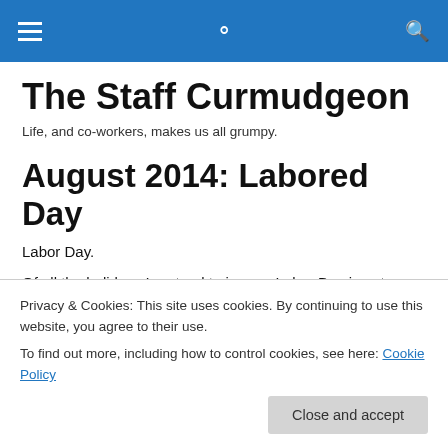The Staff Curmudgeon [navigation bar with hamburger menu and search icon]
The Staff Curmudgeon
Life, and co-workers, makes us all grumpy.
August 2014: Labored Day
Labor Day.
Of all the holidays I pretend to ignore, Labor Day is not
Privacy & Cookies: This site uses cookies. By continuing to use this website, you agree to their use.
To find out more, including how to control cookies, see here: Cookie Policy
Close and accept